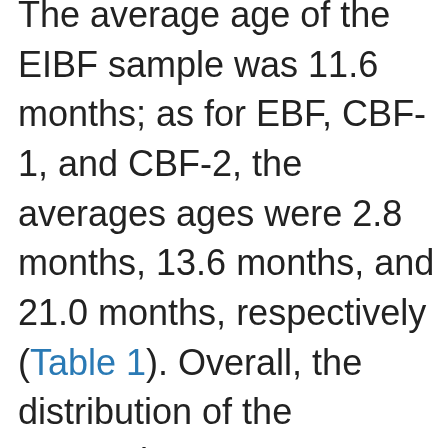The average age of the EIBF sample was 11.6 months; as for EBF, CBF-1, and CBF-2, the averages ages were 2.8 months, 13.6 months, and 21.0 months, respectively (Table 1). Overall, the distribution of the respondent characteristics in percentages was similar across the outcomes. Most infants were born to mothers